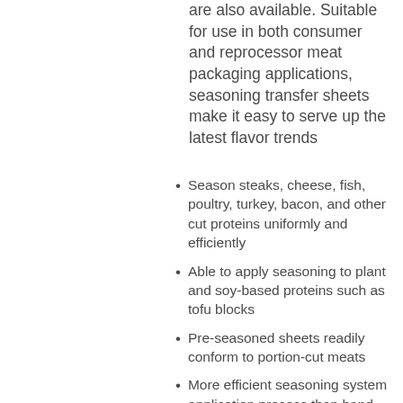are also available. Suitable for use in both consumer and reprocessor meat packaging applications, seasoning transfer sheets make it easy to serve up the latest flavor trends
Season steaks, cheese, fish, poultry, turkey, bacon, and other cut proteins uniformly and efficiently
Able to apply seasoning to plant and soy-based proteins such as tofu blocks
Pre-seasoned sheets readily conform to portion-cut meats
More efficient seasoning system application process than hand seasoning
Work with a wide variety of